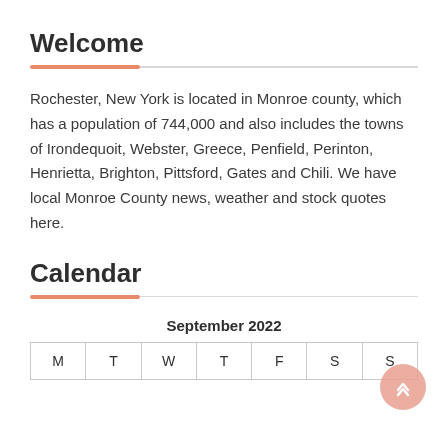Welcome
Rochester, New York is located in Monroe county, which has a population of 744,000 and also includes the towns of Irondequoit, Webster, Greece, Penfield, Perinton, Henrietta, Brighton, Pittsford, Gates and Chili. We have local Monroe County news, weather and stock quotes here.
Calendar
| M | T | W | T | F | S | S |
| --- | --- | --- | --- | --- | --- | --- |